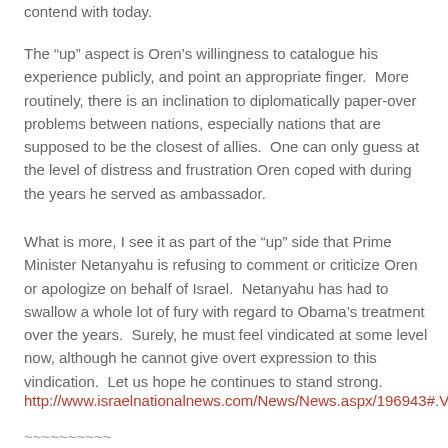contend with today.
The “up” aspect is Oren’s willingness to catalogue his experience publicly, and point an appropriate finger.  More routinely, there is an inclination to diplomatically paper-over problems between nations, especially nations that are supposed to be the closest of allies.  One can only guess at the level of distress and frustration Oren coped with during the years he served as ambassador.
What is more, I see it as part of the “up” side that Prime Minister Netanyahu is refusing to comment or criticize Oren or apologize on behalf of Israel.  Netanyahu has had to swallow a whole lot of fury with regard to Obama’s treatment over the years.  Surely, he must feel vindicated at some level now, although he cannot give overt expression to this vindication.  Let us hope he continues to stand strong.
http://www.israelnationalnews.com/News/News.aspx/196943#.V
~~~~~~~~~~